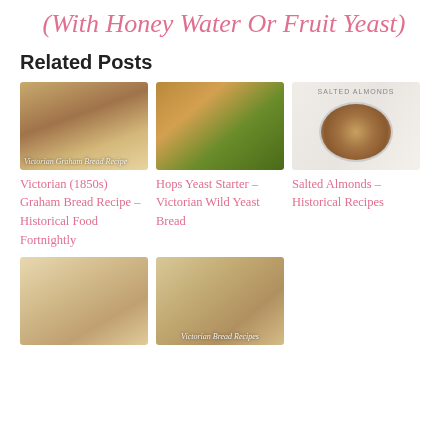(With Honey Water Or Fruit Yeast)
Related Posts
[Figure (photo): Victorian Graham Bread loaf on a cloth]
[Figure (photo): Hops Yeast Starter bread on a plate with butter]
[Figure (photo): Salted Almonds in a bowl on a white background]
Victorian (1850s) Graham Bread Recipe – Historical Food Fortnightly
Hops Yeast Starter – Victorian Wild Yeast Bread
Salted Almonds – Historical Recipes
[Figure (photo): White bread loaf slices on a cloth]
[Figure (photo): Victorian Bread Recipes – sliced bread with berries]